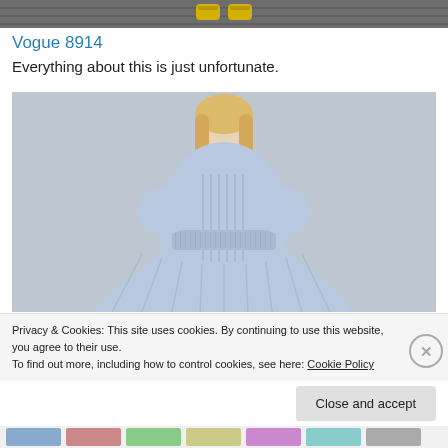[Figure (photo): Top strip showing feet with yellow sandals on a dark floor]
Vogue 8914
Everything about this is just unfortunate.
[Figure (photo): Fashion photo of a blonde woman wearing a light blue striped dress with puffed short sleeves and wide waist band, standing against a grey background]
Privacy & Cookies: This site uses cookies. By continuing to use this website, you agree to their use.
To find out more, including how to control cookies, see here: Cookie Policy
[Figure (screenshot): Bottom strip with small thumbnail images]